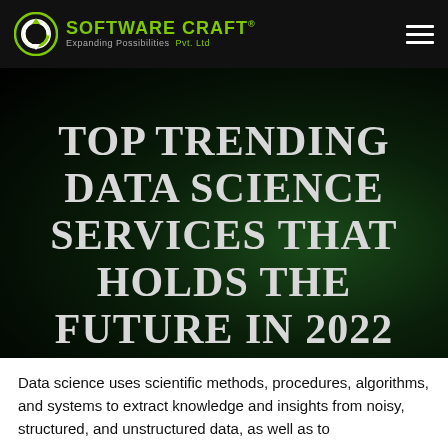SOFTWARE CRAFT® Expanding Possibilities Pvt. Ltd
TOP TRENDING DATA SCIENCE SERVICES THAT HOLDS THE FUTURE IN 2022
Data science uses scientific methods, procedures, algorithms, and systems to extract knowledge and insights from noisy, structured, and unstructured data, as well as to